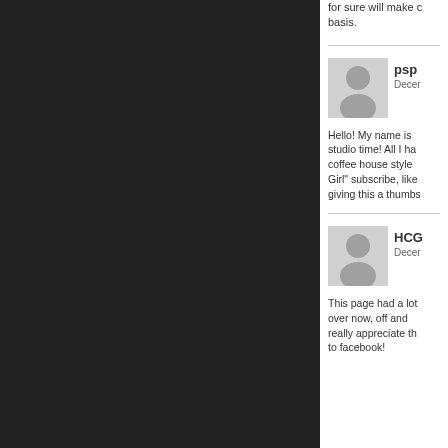for sure will make c on a basis.
[Figure (photo): User avatar placeholder - gray silhouette of a person on light gray background]
psp
Decer
Hello! My name is studio time! All I ha coffee house style Girl" subscribe, like giving this a thumbs
[Figure (photo): User avatar placeholder - gray silhouette of a person on light gray background]
HCG
Decer
This page had a lot over now, off and really appreciate th to facebook!